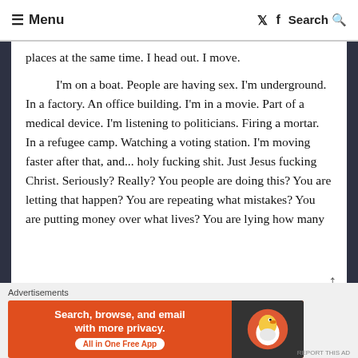≡ Menu   🐦 f  Search 🔍
places at the same time. I head out. I move.
I'm on a boat. People are having sex. I'm underground. In a factory. An office building. I'm in a movie. Part of a medical device. I'm listening to politicians. Firing a mortar. In a refugee camp. Watching a voting station. I'm moving faster after that, and... holy fucking shit. Just Jesus fucking Christ. Seriously? Really? You people are doing this? You are letting that happen? You are repeating what mistakes? You are putting money over what lives? You are lying how many
Advertisements
[Figure (other): DuckDuckGo advertisement banner: 'Search, browse, and email with more privacy. All in One Free App' with DuckDuckGo logo on right side]